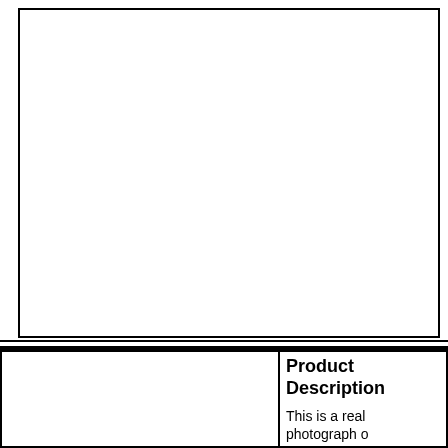[Figure (other): Large empty bordered rectangle, likely a placeholder for a product image or figure.]
[Figure (other): Small empty bordered rectangle on the bottom-left, likely a placeholder for a secondary product image.]
Product Description
This is a real photograph o